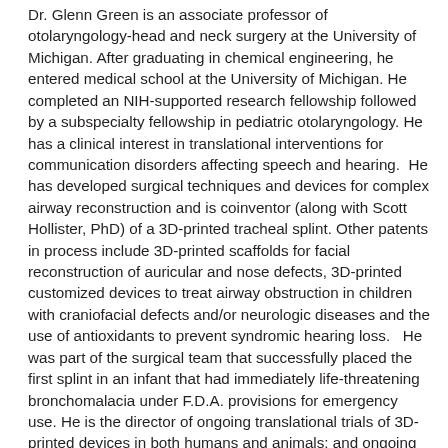Dr. Glenn Green is an associate professor of otolaryngology-head and neck surgery at the University of Michigan. After graduating in chemical engineering, he entered medical school at the University of Michigan. He completed an NIH-supported research fellowship followed by a subspecialty fellowship in pediatric otolaryngology. He has a clinical interest in translational interventions for communication disorders affecting speech and hearing.  He has developed surgical techniques and devices for complex airway reconstruction and is coinventor (along with Scott Hollister, PhD) of a 3D-printed tracheal splint. Other patents in process include 3D-printed scaffolds for facial reconstruction of auricular and nose defects, 3D-printed customized devices to treat airway obstruction in children with craniofacial defects and/or neurologic diseases and the use of antioxidants to prevent syndromic hearing loss.   He was part of the surgical team that successfully placed the first splint in an infant that had immediately life-threatening bronchomalacia under F.D.A. provisions for emergency use. He is the director of ongoing translational trials of 3D-printed devices in both humans and animals; and ongoing translation trials of antioxidants for hearing loss. He has won several awards ranging from the Keck Valedictorian Award for research and outstanding achievement...